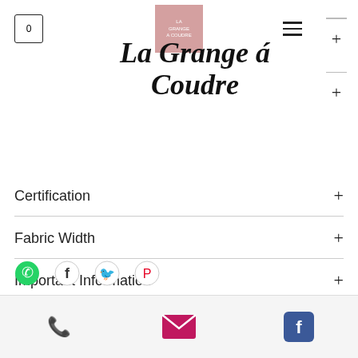[Figure (screenshot): Shopping cart icon with 0]
[Figure (logo): La Grange á Coudre pink logo box]
[Figure (other): Hamburger menu icon]
La Grange á Coudre
Certification
Fabric Width
Important Information
[Figure (infographic): Social share icons: WhatsApp, Facebook, Twitter, Pinterest]
[Figure (infographic): Bottom bar with phone, email, and Facebook icons]